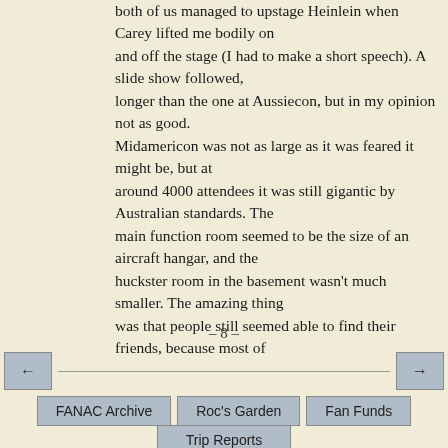both of us managed to upstage Heinlein when Carey lifted me bodily on and off the stage (I had to make a short speech). A slide show followed, longer than the one at Aussiecon, but in my opinion not as good. Midamericon was not as large as it was feared it might be, but at around 4000 attendees it was still gigantic by Australian standards. The main function room seemed to be the size of an aircraft hangar, and the huckster room in the basement wasn't much smaller. The amazing thing was that people still seemed able to find their friends, because most of
– 8 –
← [navigation line] →
FANAC Archive  Roc's Garden  Fan Funds
Trip Reports